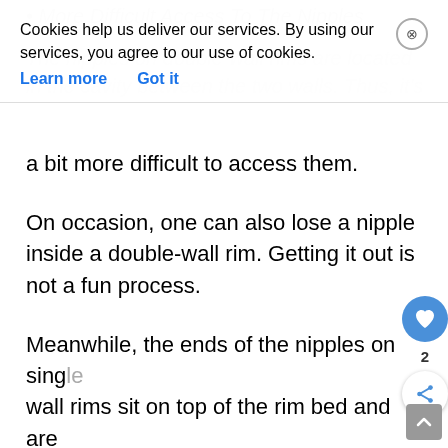[Figure (screenshot): Cookie consent banner overlay with close button (X), text 'Cookies help us deliver our services. By using our services, you agree to our use of cookies.', with 'Learn more' and 'Got it' links]
a bit more difficult to access them.
On occasion, one can also lose a nipple inside a double-wall rim. Getting it out is not a fun process.
Meanwhile, the ends of the nipples on single wall rims sit on top of the rim bed and are fairly accessible. (Also, it's not possible to lose a nipple in a single-wall rim.)
Thus, one can argue that it's easier and